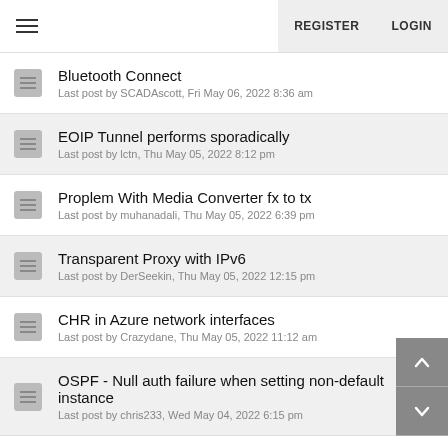REGISTER  LOGIN
Bluetooth Connect
Last post by SCADAscott, Fri May 06, 2022 8:36 am
EOIP Tunnel performs sporadically
Last post by lctn, Thu May 05, 2022 8:12 pm
Proplem With Media Converter fx to tx
Last post by muhanadali, Thu May 05, 2022 6:39 pm
Transparent Proxy with IPv6
Last post by DerSeekin, Thu May 05, 2022 12:15 pm
CHR in Azure network interfaces
Last post by Crazydane, Thu May 05, 2022 11:12 am
OSPF - Null auth failure when setting non-default instance
Last post by chris233, Wed May 04, 2022 6:15 pm